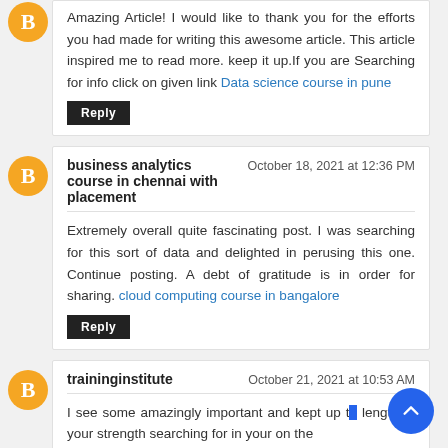Amazing Article! I would like to thank you for the efforts you had made for writing this awesome article. This article inspired me to read more. keep it up.If you are Searching for info click on given link Data science course in pune
Reply
business analytics course in chennai with placement
October 18, 2021 at 12:36 PM
Extremely overall quite fascinating post. I was searching for this sort of data and delighted in perusing this one. Continue posting. A debt of gratitude is in order for sharing. cloud computing course in bangalore
Reply
traininginstitute
October 21, 2021 at 10:53 AM
I see some amazingly important and kept up to length of your strength searching for in your on the